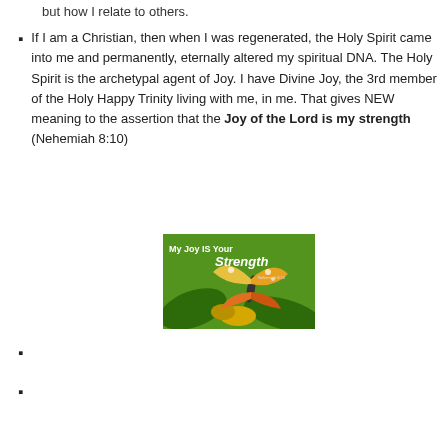but how I relate to others.
If I am a Christian, then when I was regenerated, the Holy Spirit came into me and permanently, eternally altered my spiritual DNA.  The Holy Spirit is the archetypal agent of Joy.  I have Divine Joy, the 3rd member of the Holy Happy Trinity living with me, in me.  That gives NEW meaning to the assertion that the Joy of the Lord is my strength (Nehemiah 8:10)
[Figure (illustration): Decorative image with text 'My Joy IS Your Strength' featuring a butterfly on a green background]